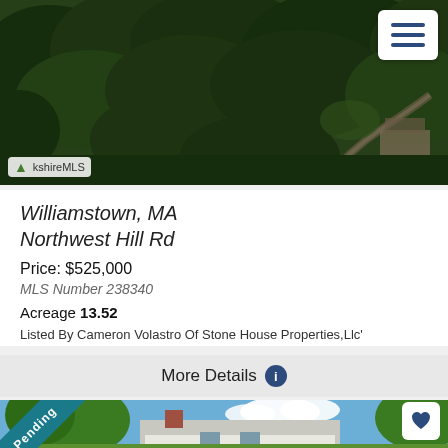[Figure (photo): Aerial view of wooded hillside with trees and a road winding through, BerkshireMLS watermark visible]
Williamstown, MA
Northwest Hill Rd
Price: $525,000
MLS Number 238340
Acreage 13.52
Listed By Cameron Volastro Of Stone House Properties,Llc'
More Details
[Figure (photo): House with gray roof partially visible among green trees on a sunny day with blue sky, showing a Pending banner in the upper left corner and a heart icon in the upper right]